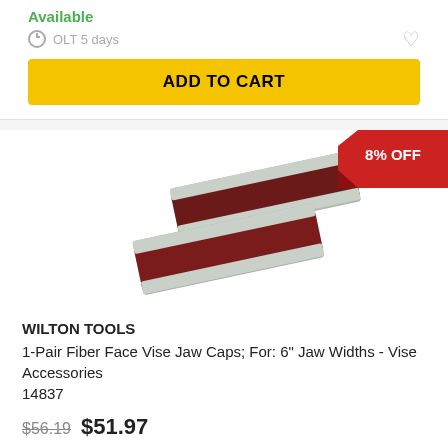Available
OLT 5 days
ADD TO CART
[Figure (photo): Two dark red/maroon fiber face vise jaw caps with gray metal edges, displayed diagonally crossed over each other on white background]
8% OFF
WILTON TOOLS
1-Pair Fiber Face Vise Jaw Caps; For: 6" Jaw Widths - Vise Accessories
14837
$56.19  $51.97